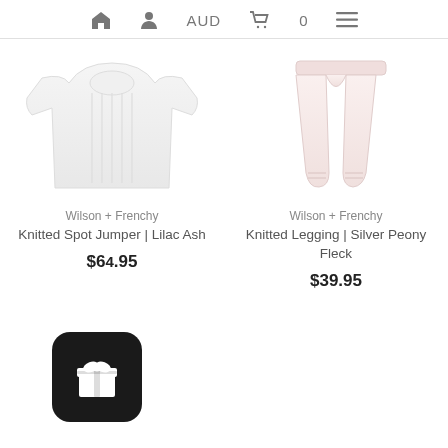AUD  0
[Figure (photo): White knitted baby jumper/cardigan product photo on white background]
Wilson + Frenchy
Knitted Spot Jumper | Lilac Ash
$64.95
[Figure (photo): Light pink knitted baby legging product photo on white background]
Wilson + Frenchy
Knitted Legging | Silver Peony Fleck
$39.95
[Figure (illustration): Black rounded square icon with white gift/present bow icon]